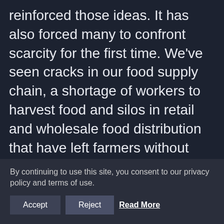reinforced those ideas. It has also forced many to confront scarcity for the first time. We've seen cracks in our food supply chain, a shortage of workers to harvest food and silos in retail and wholesale food distribution that have left farmers without customers, even while store shelves remain empty.
Food companies and suppliers—from farmers and processors to distributors and grocery stores—are also under new scrutiny. The way they treat their workers and keep them safe are under laser focus. And the way they manage their supply chains and whether they remain
By continuing to use this site, you consent to our privacy policy and terms of use.
Accept | Reject | Read More